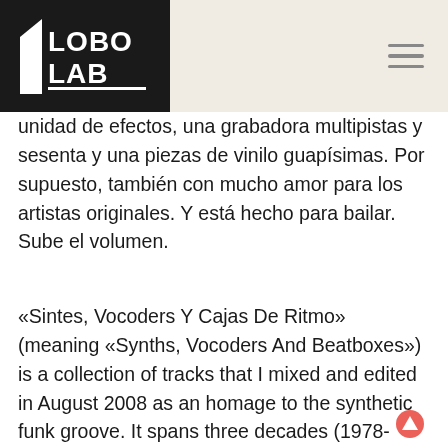LOBO LAB
unidad de efectos, una grabadora multipistas y sesenta y una piezas de vinilo guapísimas. Por supuesto, también con mucho amor para los artistas originales. Y está hecho para bailar. Sube el volumen.
«Sintes, Vocoders Y Cajas De Ritmo» (meaning «Synths, Vocoders And Beatboxes») is a collection of tracks that I mixed and edited in August 2008 as an homage to the synthetic funk groove. It spans three decades (1978-2008) of funk and electro colliding together and features as main characters players like slap basses, handclaps, electric keyboards,